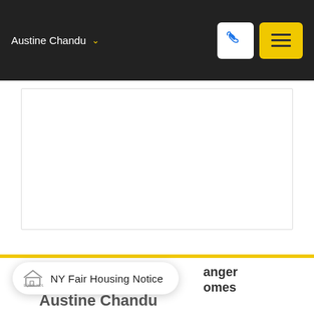Austine Chandu
[Figure (screenshot): White content card placeholder area with border]
NY Fair Housing Notice
anger omes
Austine Chandu